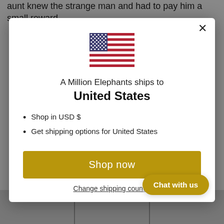aunt knew the strange man and had to pay him a small reward.
[Figure (screenshot): Modal dialog showing a US flag emoji and text 'A Million Elephants ships to United States' with bullet points 'Shop in USD $' and 'Get shipping options for United States', a golden 'Shop now' button, a 'Change shipping country' link, and a 'Chat with us' button.]
Shop in USD $
Get shipping options for United States